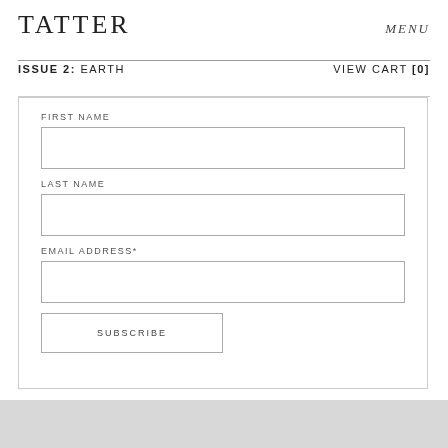TATTER   MENU
ISSUE 2: EARTH   VIEW CART [0]
FIRST NAME
LAST NAME
EMAIL ADDRESS*
SUBSCRIBE